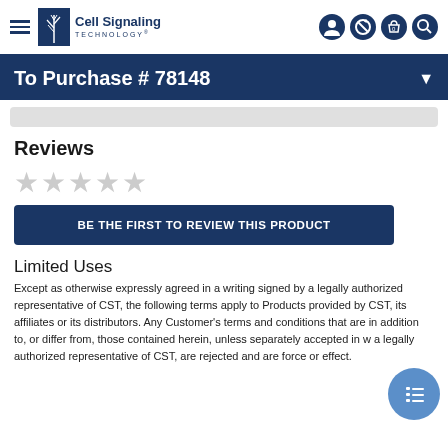Cell Signaling TECHNOLOGY
To Purchase # 78148
Reviews
★★★★★ (empty stars)
BE THE FIRST TO REVIEW THIS PRODUCT
Limited Uses
Except as otherwise expressly agreed in a writing signed by a legally authorized representative of CST, the following terms apply to Products provided by CST, its affiliates or its distributors. Any Customer's terms and conditions that are in addition to, or different from, those contained herein, unless separately accepted in writing by a legally authorized representative of CST, are rejected and are of no force or effect.